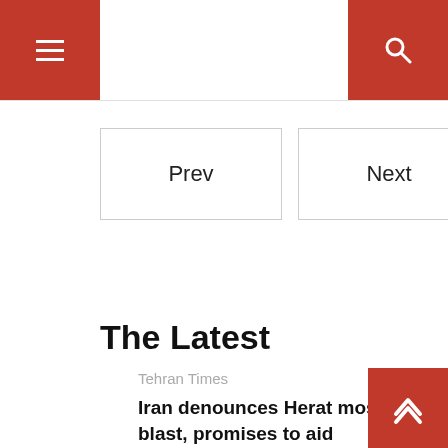≡  [menu]   [search]
[Figure (other): Prev and Next navigation buttons]
The Latest
Tehran Times
Iran denounces Herat mosque blast, promises to aid Afghanistan in battle on terrorism